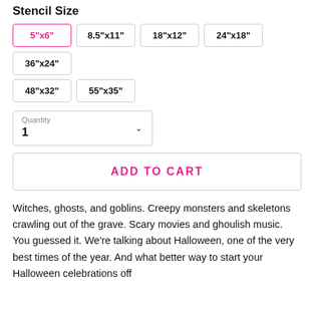Stencil Size
5"x6" (selected), 8.5"x11", 18"x12", 24"x18", 36"x24", 48"x32", 55"x35"
Quantity: 1
ADD TO CART
Witches, ghosts, and goblins. Creepy monsters and skeletons crawling out of the grave. Scary movies and ghoulish music. You guessed it. We're talking about Halloween, one of the very best times of the year. And what better way to start your Halloween celebrations off